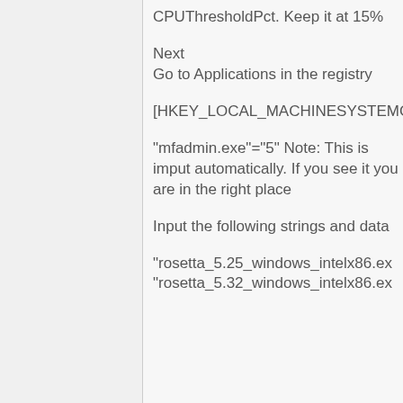CPUThresholdPct. Keep it at 15%
Next
Go to Applications in the registry
[HKEY_LOCAL_MACHINESYSTEMC
"mfadmin.exe"="5" Note: This is imput automatically. If you see it you are in the right place
Input the following strings and data
"rosetta_5.25_windows_intelx86.ex
"rosetta_5.32_windows_intelx86.ex